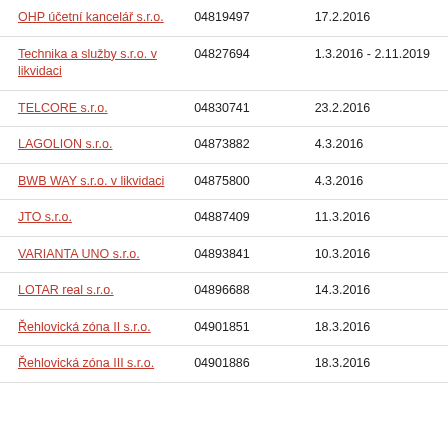| Název | IČO | Datum |
| --- | --- | --- |
| OHP účetní kancelář s.r.o. | 04819497 | 17.2.2016 |
| Technika a služby s.r.o. v likvidaci | 04827694 | 1.3.2016 - 2.11.2019 |
| TELCORE s.r.o. | 04830741 | 23.2.2016 |
| LAGOLION s.r.o. | 04873882 | 4.3.2016 |
| BWB WAY s.r.o. v likvidaci | 04875800 | 4.3.2016 |
| JTO s.r.o. | 04887409 | 11.3.2016 |
| VARIANTA UNO s.r.o. | 04893841 | 10.3.2016 |
| LOTAR real s.r.o. | 04896688 | 14.3.2016 |
| Řehlovická zóna II s.r.o. | 04901851 | 18.3.2016 |
| Řehlovická zóna III s.r.o. | 04901886 | 18.3.2016 |